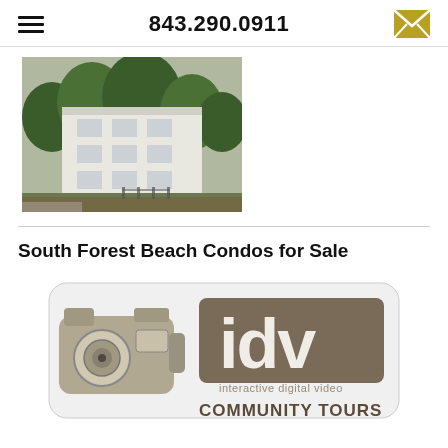843.290.0911
[Figure (photo): Exterior photo of a multi-story white condominium building surrounded by lush green trees and landscaping]
South Forest Beach Condos for Sale
[Figure (logo): IDV Interactive Digital Video Community Tours logo with a video camera icon and text reading 'idv interactive digital video COMMUNITY TOURS']